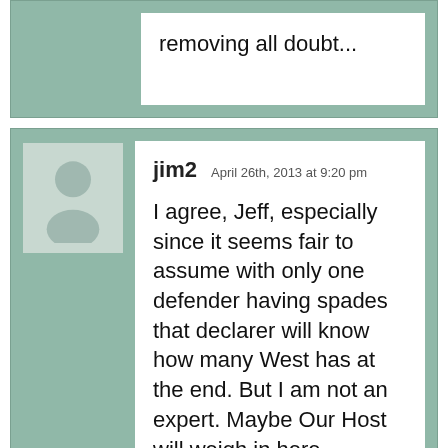removing all doubt...
jim2  April 26th, 2013 at 9:20 pm

I agree, Jeff, especially since it seems fair to assume with only one defender having spades that declarer will know how many West has at the end. But I am not an expert. Maybe Our Host will weigh in here.